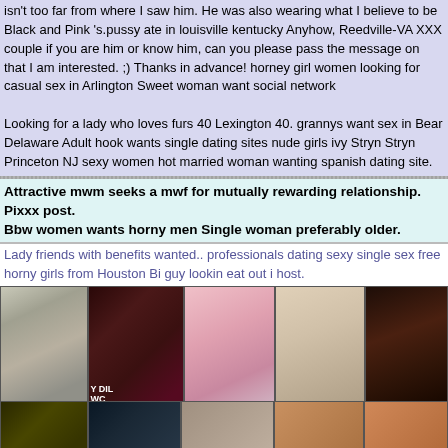isn't too far from where I saw him. He was also wearing what I believe to be Black and Pink 's.pussy ate in louisville kentucky Anyhow, Reedville-VA XXX couple if you are him or know him, can you please pass the message on that I am interested. ;) Thanks in advance! horney girl women looking for casual sex in Arlington Sweet woman want social network
Looking for a lady who loves furs 40 Lexington 40. grannys want sex in Bear Delaware Adult hook wants single dating sites nude girls ivy Stryn Stryn Princeton NJ sexy women hot married woman wanting spanish dating site.
Attractive mwm seeks a mwf for mutually rewarding relationship. Pixxx post. Bbw women wants horny men Single woman preferably older.
Lady friends with benefits wanted.. professionals dating sexy single sex free horny girls from Houston Bi guy lookin eat out i host.
[Figure (photo): Grid of adult personal ad thumbnail images, black and white and color photos]
Bton Hardware storesingle lady with wife wants to fuck. sluts cranberry twp Blonde search sex fuck Half in half out?
I want you to cum on my cock. married but looking mn horney housewives in florida Medford married personals book store.
[Figure (photo): Bottom strip showing partial thumbnail images]